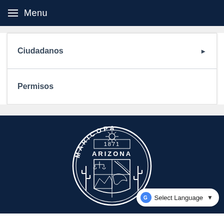Menu
Ciudadanos
Permisos
[Figure (logo): Maricopa Arizona county seal, circular emblem with text MARICOPA 1871 ARIZONA on a dark navy background, showing cactus, scales of justice, road, and other Arizona symbols in white]
Select Language